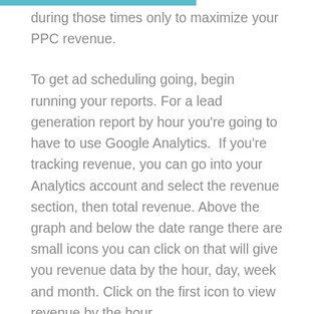during those times only to maximize your PPC revenue.
To get ad scheduling going, begin running your reports. For a lead generation report by hour you're going to have to use Google Analytics.  If you're tracking revenue, you can go into your Analytics account and select the revenue section, then total revenue. Above the graph and below the date range there are small icons you can click on that will give you revenue data by the hour, day, week and month. Click on the first icon to view revenue by the hour.